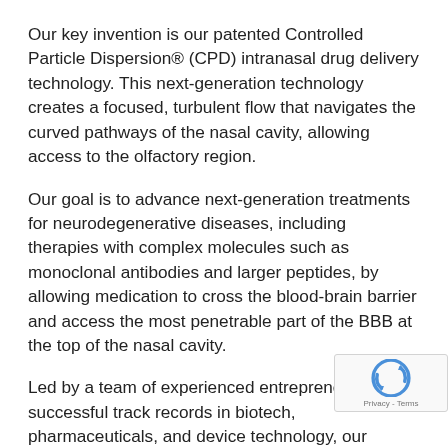Our key invention is our patented Controlled Particle Dispersion® (CPD) intranasal drug delivery technology. This next-generation technology creates a focused, turbulent flow that navigates the curved pathways of the nasal cavity, allowing access to the olfactory region.
Our goal is to advance next-generation treatments for neurodegenerative diseases, including therapies with complex molecules such as monoclonal antibodies and larger peptides, by allowing medication to cross the blood-brain barrier and access the most penetrable part of the BBB at the top of the nasal cavity.
Led by a team of experienced entrepreneurs with successful track records in biotech, pharmaceuticals, and device technology, our mission is to pave the way in treating complex CNS disorders, including Alzheimer's disease, cognitive aging, Lewy body dementia, Parkinson's disease, and ALS. The Kurve technology is featured in 18 peer-reviewed publications in leading medical journals. Ku technology has been used in five double-blind placebo controlled Phase II studies and is ready for Phase III with...